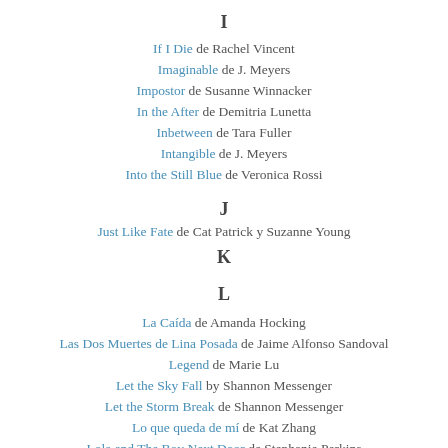I
If I Die de Rachel Vincent
Imaginable de J. Meyers
Impostor de Susanne Winnacker
In the After de Demitria Lunetta
Inbetween de Tara Fuller
Intangible de J. Meyers
Into the Still Blue de Veronica Rossi
J
Just Like Fate de Cat Patrick y Suzanne Young
K
L
La Caída de Amanda Hocking
Las Dos Muertes de Lina Posada de Jaime Alfonso Sandoval
Legend de Marie Lu
Let the Sky Fall by Shannon Messenger
Let the Storm Break de Shannon Messenger
Lo que queda de mí de Kat Zhang
Lola and The Boy Next Door de Stephanie Perkins